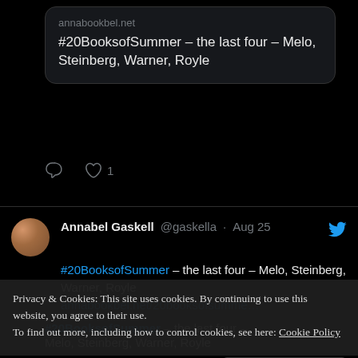annabookbel.net
#20BooksofSummer – the last four – Melo, Steinberg, Warner, Royle
♡ 1
Annabel Gaskell @gaskella · Aug 25
#20BooksofSummer – the last four – Melo, Steinberg, Warner, Royle
annabookbel.net/20booksofsumme…
[Figure (photo): Book cover or promotional image showing '20 BOOKS' text in orange/coral lettering on a teal/mint background with warm bokeh orange background]
Privacy & Cookies: This site uses cookies. By continuing to use this website, you agree to their use.
To find out more, including how to control cookies, see here: Cookie Policy
Close and accept
#20BooksofSummer – the last four –
Melo, Steinberg, Warner, Royle